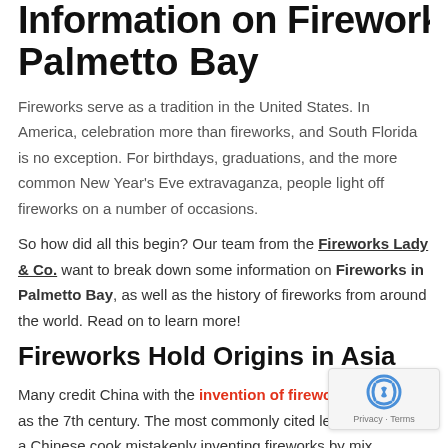Information on Fireworks in Palmetto Bay
Fireworks serve as a tradition in the United States. In America, celebration more than fireworks, and South Florida is no exception. For birthdays, graduations, and the more common New Year's Eve extravaganza, people light off fireworks on a number of occasions.
So how did all this begin? Our team from the Fireworks Lady & Co. want to break down some information on Fireworks in Palmetto Bay, as well as the history of fireworks from around the world. Read on to learn more!
Fireworks Hold Origins in Asia
Many credit China with the invention of fireworks as early as the 7th century. The most commonly cited legend refers to a Chinese cook mistakenly inventing fireworks by mixing charcoal, Sulphur, as well as saltpeter. This mixture